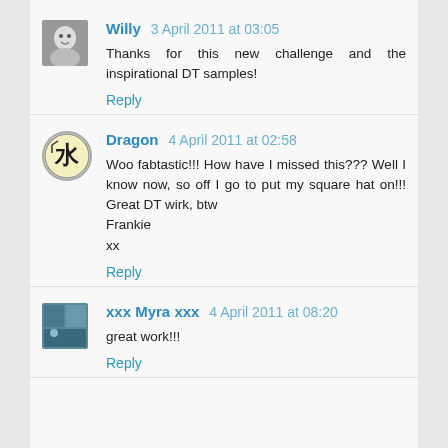Willy  3 April 2011 at 03:05
Thanks for this new challenge and the inspirational DT samples!
Reply
Dragon  4 April 2011 at 02:58
Woo fabtastic!!! How have I missed this??? Well I know now, so off I go to put my square hat on!!! Great DT wirk, btw
Frankie
xx
Reply
xxx Myra xxx  4 April 2011 at 08:20
great work!!!
Reply